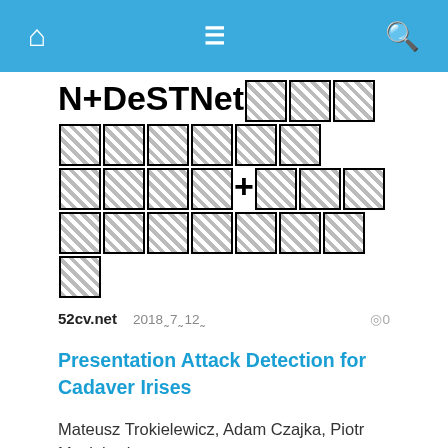[navigation bar with home, menu, and search icons]
N+DeSTNet[tofu chars][tofu chars]+[tofu chars][tofu]
52cv.net   2018年7月12日   ◎0
Presentation Attack Detection for Cadaver Irises
Mateusz Trokielewicz, Adam Czajka, Piotr Maciejewicz
This paper presents a deep-learning-based method for iris presentation attack detection (PAD) when iris images are obtained from